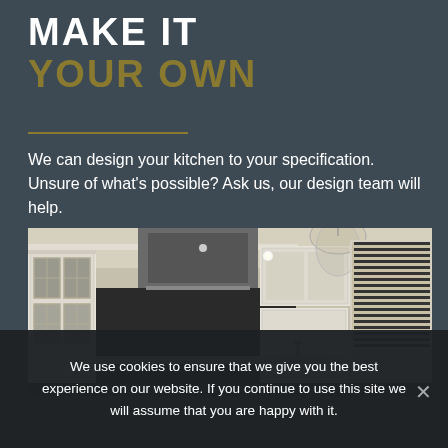MAKE IT YOUR OWN
We can design your kitchen to your specification. Unsure of what's possible? Ask us, our design team will help.
[Figure (photo): Interior photo of a luxury kitchen with cream/white cabinetry, glass pendant light, stainless steel range hood, and dark blinds on the window]
We use cookies to ensure that we give you the best experience on our website. If you continue to use this site we will assume that you are happy with it.